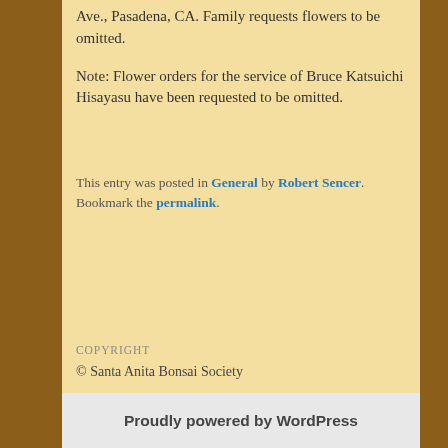Ave., Pasadena, CA. Family requests flowers to be omitted.
Note: Flower orders for the service of Bruce Katsuichi Hisayasu have been requested to be omitted.
This entry was posted in General by Robert Sencer. Bookmark the permalink.
COPYRIGHT
© Santa Anita Bonsai Society
Proudly powered by WordPress